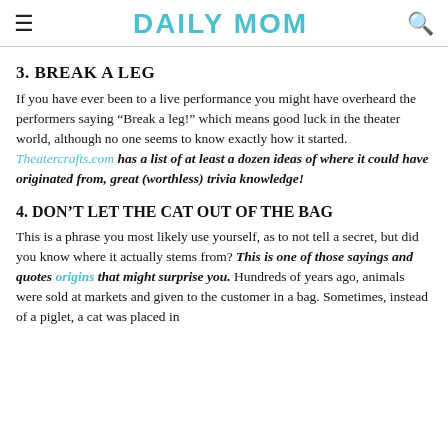DAILY MOM
3. BREAK A LEG
If you have ever been to a live performance you might have overheard the performers saying “Break a leg!” which means good luck in the theater world, although no one seems to know exactly how it started. Theatercrafts.com has a list of at least a dozen ideas of where it could have originated from, great (worthless) trivia knowledge!
4. DON’T LET THE CAT OUT OF THE BAG
This is a phrase you most likely use yourself, as to not tell a secret, but did you know where it actually stems from? This is one of those sayings and quotes origins that might surprise you. Hundreds of years ago, animals were sold at markets and given to the customer in a bag. Sometimes, instead of a piglet, a cat was placed in